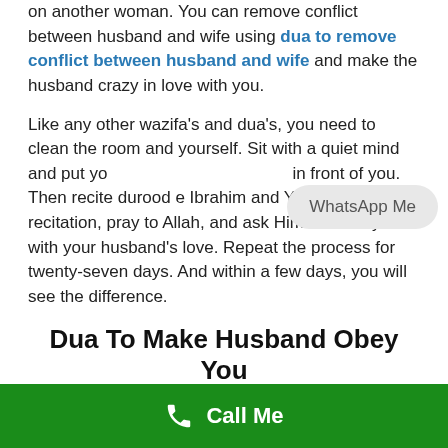on another woman. You can remove conflict between husband and wife using dua to remove conflict between husband and wife and make the husband crazy in love with you.
Like any other wazifa's and dua's, you need to clean the room and yourself. Sit with a quiet mind and put your [husband's photo] in front of you. Then recite durood e Ibrahim and Ya Wadoodo after recitation, pray to Allah, and ask Him to bless you with your husband's love. Repeat the process for twenty-seven days. And within a few days, you will see the difference.
Dua To Make Husband Obey You
Dua To Make Husband Obey You , Marriage is heaven if two people are compatible. But imagine what marriage would be if there is constant bickering? It would be a hell to live in. And if one's husband does not listen or is away. There is dua to make husband obey you, which will help to get away from hell. If one's